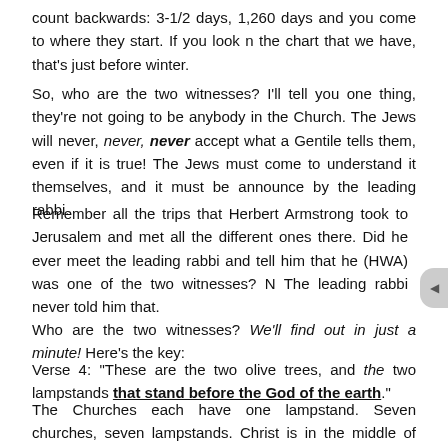count backwards: 3-1/2 days, 1,260 days and you come to where they start. If you look n the chart that we have, that's just before winter.
So, who are the two witnesses? I'll tell you one thing, they're not going to be anybody in the Church. The Jews will never, never, never accept what a Gentile tells them, even if it is true! The Jews must come to understand it themselves, and it must be announce by the leading rabbi.
Remember all the trips that Herbert Armstrong took to Jerusalem and met all the different ones there. Did he ever meet the leading rabbi and tell him that he (HWA) was one of the two witnesses? N The leading rabbi never told him that.
Who are the two witnesses? We'll find out in just a minute! Here's the key:
Verse 4: "These are the two olive trees, and the two lampstands that stand before the God of the earth."
The Churches each have one lampstand. Seven churches, seven lampstands. Christ is in the middle of them (Rev. 1). Those seven lampstand equate, two of them, from the seven here. These are two different ones. Who are they? "...two olive trees, and the two lampstands that stand before the God of the earth." That means